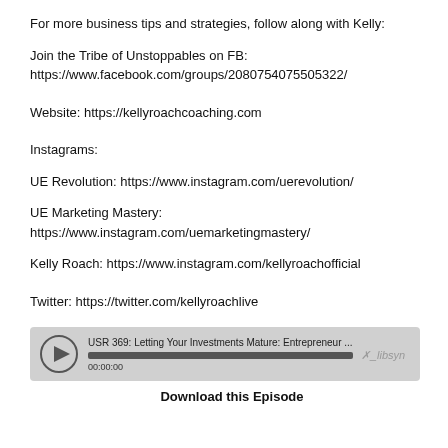For more business tips and strategies, follow along with Kelly:
Join the Tribe of Unstoppables on FB:
https://www.facebook.com/groups/2080754075505322/
Website: https://kellyroachcoaching.com
Instagrams:
UE Revolution: https://www.instagram.com/uerevolution/
UE Marketing Mastery: https://www.instagram.com/uemarketingmastery/
Kelly Roach: https://www.instagram.com/kellyroachofficial
Twitter: https://twitter.com/kellyroachlive
[Figure (other): Audio player widget showing episode: USR 369: Letting Your Investments Mature: Entrepreneur ... at 00:00:00 with libsyn branding]
Download this Episode